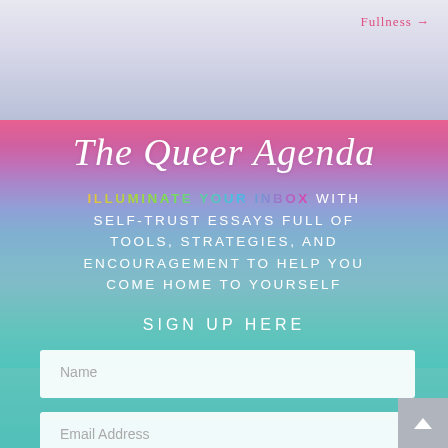Fullness →
The Queer Agenda
ILLUMINATE YOUR INBOX WITH SELF-TRUST ESSAYS FULL OF TOOLS, STRATEGIES, AND ENCOURAGEMENT TO HELP YOU COME HOME TO YOURSELF
SIGN UP HERE
Name
Email Address